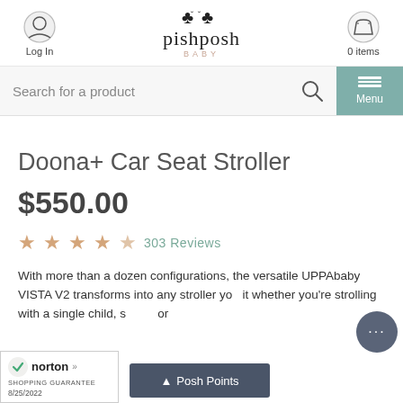pishposh BABY — Log In | 0 items
Search for a product
Doona+ Car Seat Stroller
$550.00
★★★★☆ 303 Reviews
With more than a dozen configurations, the versatile UPPAbaby VISTA V2 transforms into any stroller you need. Whether you're strolling with a single child, sibling, or